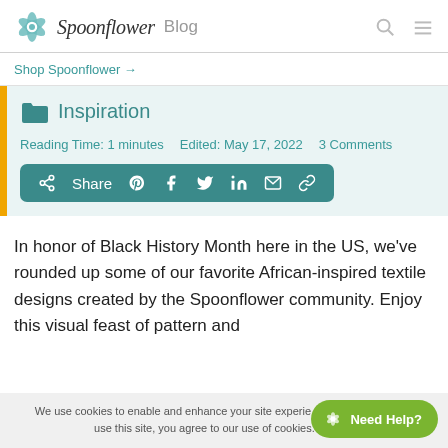Spoonflower Blog
Shop Spoonflower →
Inspiration
Reading Time: 1 minutes   Edited: May 17, 2022   3 Comments
Share (social icons: Pinterest, Facebook, Twitter, LinkedIn, Email, Link)
In honor of Black History Month here in the US, we've rounded up some of our favorite African-inspired textile designs created by the Spoonflower community. Enjoy this visual feast of pattern and
We use cookies to enable and enhance your site experience. By continuing to use this site, you agree to our use of cookies.